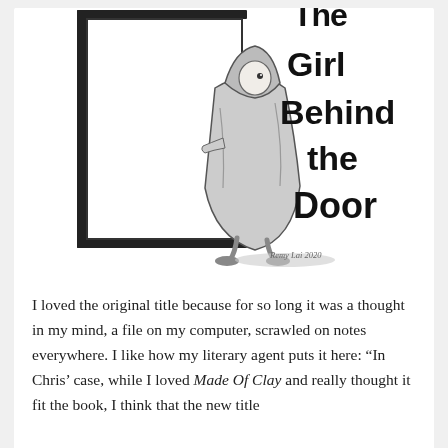[Figure (illustration): Black and white hand-drawn illustration showing a girl wrapped in a hooded cloak peeking out from behind an open door. The title text 'The Girl Behind the Door' is written in a hand-lettered style to the right of the figure. Artist signature reads 'Remy Lai 2020'.]
I loved the original title because for so long it was a thought in my mind, a file on my computer, scrawled on notes everywhere. I like how my literary agent puts it here: “In Chris’ case, while I loved Made Of Clay and really thought it fit the book, I think that the new title